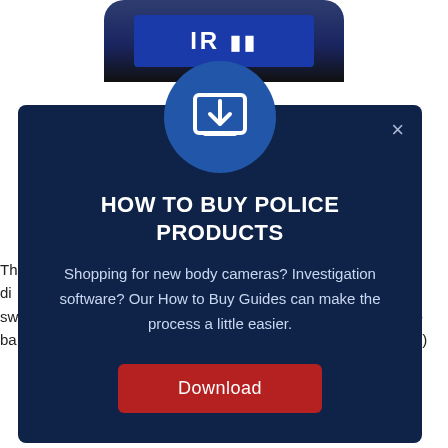[Figure (screenshot): Partial view of a dark-colored device (product container/camera) at the top of the page]
Th... severe dis... cause sw... is not oil-ba... x Protect)
[Figure (screenshot): Modal popup with dark navy background titled 'HOW TO BUY POLICE PRODUCTS' with a download icon in a blue circle, descriptive text about body cameras and investigation software, and a red Download button with an X close button]
HOW TO BUY POLICE PRODUCTS
Shopping for new body cameras? Investigation software? Our How to Buy Guides can make the process a little easier.
Download
A... d, h... work cl... non-ae... d inside a... and its fa... e effects w... mize or cr... ication, a... nal for th...